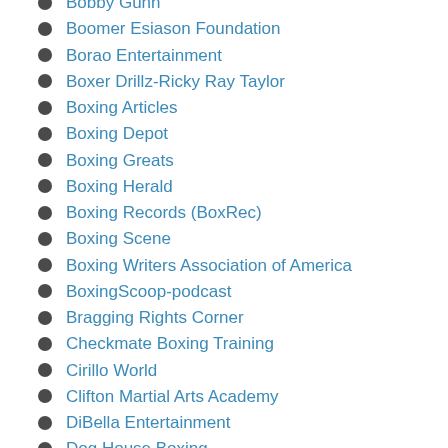Bobby Gunn
Boomer Esiason Foundation
Borao Entertainment
Boxer Drillz-Ricky Ray Taylor
Boxing Articles
Boxing Depot
Boxing Greats
Boxing Herald
Boxing Records (BoxRec)
Boxing Scene
Boxing Writers Association of America
BoxingScoop-podcast
Bragging Rights Corner
Checkmate Boxing Training
Cirillo World
Clifton Martial Arts Academy
DiBella Entertainment
Dog House Boxing
Dr. Atlas Foundation
East Side Boxing
Evander Holyfield
Event Marketing & Communications
Fight Beat
Fight News Unlimited
Fight Treatment Philly